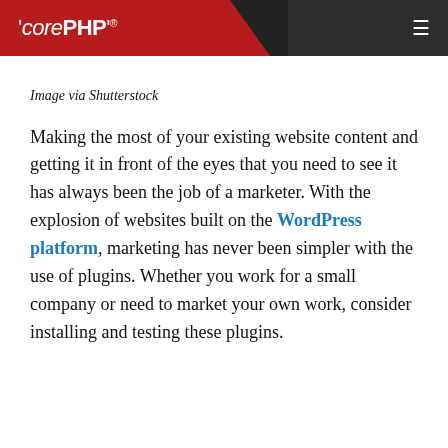'corePHP'® ☰
Image via Shutterstock
Making the most of your existing website content and getting it in front of the eyes that you need to see it has always been the job of a marketer. With the explosion of websites built on the WordPress platform, marketing has never been simpler with the use of plugins. Whether you work for a small company or need to market your own work, consider installing and testing these plugins.